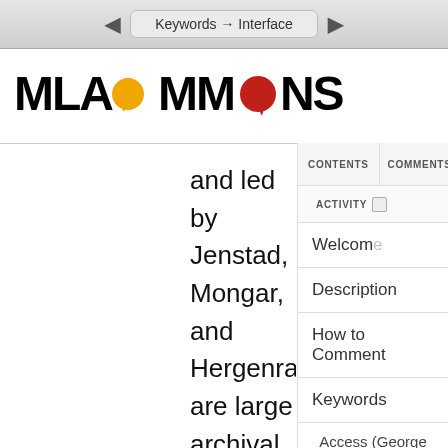Keywords → Interface
[Figure (logo): MLA Commons logo with orange and red speech bubble icons replacing the letter O]
and led by Jenstad, Mongar, and Hergenrader are large archival projects sustained semester-to-semester. They permit a wide range of interface applications, including
CONTENTS
COMMENTS
ACTIVITY
Welcome
Description
How to Comment
Keywords
Access (George H. Williams)
Affect (Elizabeth Losh)
Annotation (Paul Schacht)
Archive (Lauren